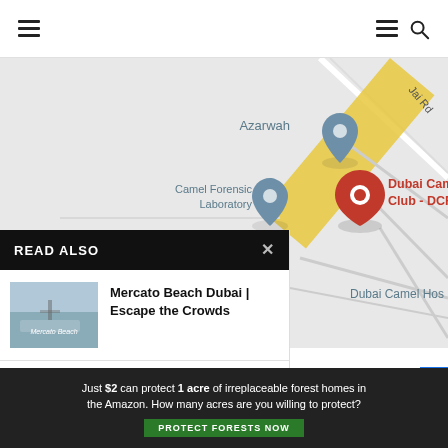Navigation bar with hamburger menu, hamburger icon, and search icon
[Figure (map): Google Maps screenshot showing Azarwah location pin, Camel Forensic Laboratory pin, Dubai Camel Racing Club - DCRC red pin, Dubai Camel Hospital label, and Jai Rd road label]
READ ALSO
Mercato Beach Dubai | Escape the Crowds
Umm Al Quwain Ship Wreck – A...
Police Cars in
Just $2 can protect 1 acre of irreplaceable forest homes in the Amazon. How many acres are you willing to protect?
PROTECT FORESTS NOW